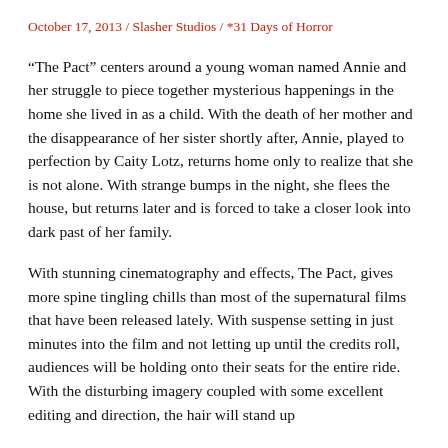October 17, 2013 / Slasher Studios / *31 Days of Horror
“The Pact” centers around a young woman named Annie and her struggle to piece together mysterious happenings in the home she lived in as a child. With the death of her mother and the disappearance of her sister shortly after, Annie, played to perfection by Caity Lotz, returns home only to realize that she is not alone. With strange bumps in the night, she flees the house, but returns later and is forced to take a closer look into dark past of her family.
With stunning cinematography and effects, The Pact, gives more spine tingling chills than most of the supernatural films that have been released lately. With suspense setting in just minutes into the film and not letting up until the credits roll, audiences will be holding onto their seats for the entire ride. With the disturbing imagery coupled with some excellent editing and direction, the hair will stand up